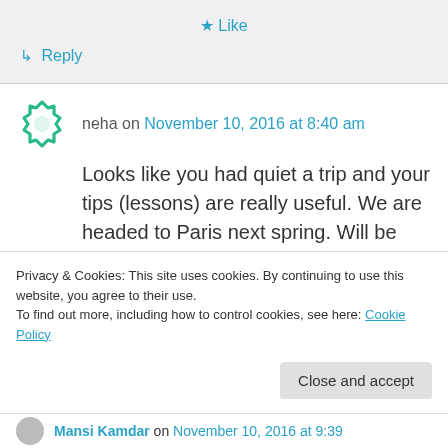★ Like
↳ Reply
neha on November 10, 2016 at 8:40 am
Looks like you had quiet a trip and your tips (lessons) are really useful. We are headed to Paris next spring. Will be great if you can tell us how many days to spent for the city tour and a rough itinerary
Privacy & Cookies: This site uses cookies. By continuing to use this website, you agree to their use. To find out more, including how to control cookies, see here: Cookie Policy
Close and accept
Mansi Kamdar on November 10, 2016 at 9:39